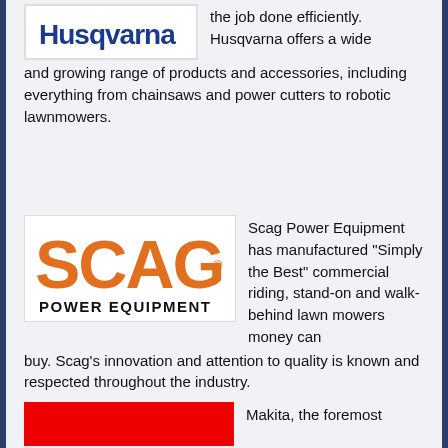[Figure (logo): Husqvarna logo — white background with blue stylized Husqvarna wordmark]
the job done efficiently. Husqvarna offers a wide and growing range of products and accessories, including everything from chainsaws and power cutters to robotic lawnmowers.
[Figure (logo): Scag Power Equipment logo — orange SCAG lettering with POWER EQUIPMENT in black below]
Scag Power Equipment has manufactured "Simply the Best" commercial riding, stand-on and walk-behind lawn mowers money can buy. Scag's innovation and attention to quality is known and respected throughout the industry.
[Figure (logo): Makita logo — solid red rectangle]
Makita, the foremost